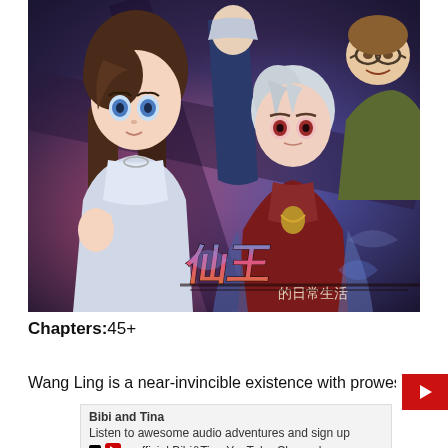[Figure (illustration): Manga/anime style cover art showing multiple characters: a girl with long brown hair and blue eyes in a light outfit on the left, a white-haired boy in a dark red Chinese-style outfit in the center, a figure in blue clothing at the top center, and a bespectacled man in the upper right. Chinese calligraphy title logo overlaid at the bottom center of the image.]
Chapters:45+
Wang Ling is a near-invincible existence with prowess
Bibi and Tina
Listen to awesome audio adventures and sign up
e official Bibi&Tina YouTube Channel.